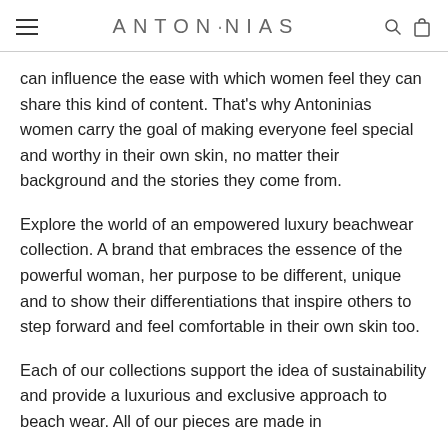ANTONIAS
can influence the ease with which women feel they can share this kind of content. That's why Antoninias women carry the goal of making everyone feel special and worthy in their own skin, no matter their background and the stories they come from.
Explore the world of an empowered luxury beachwear collection. A brand that embraces the essence of the powerful woman, her purpose to be different, unique and to show their differentiations that inspire others to step forward and feel comfortable in their own skin too.
Each of our collections support the idea of sustainability and provide a luxurious and exclusive approach to beach wear. All of our pieces are made in